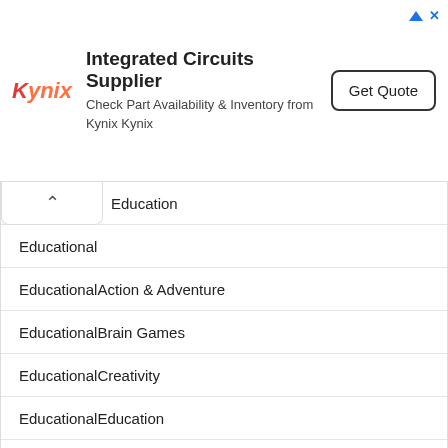[Figure (screenshot): Kynix advertisement banner for Integrated Circuits Supplier with Get Quote button]
Education
Educational
EducationalAction & Adventure
EducationalBrain Games
EducationalCreativity
EducationalEducation
EducationalMusic & Video
EducationalPretend Play
EducationEducation
EducationMusic & Video